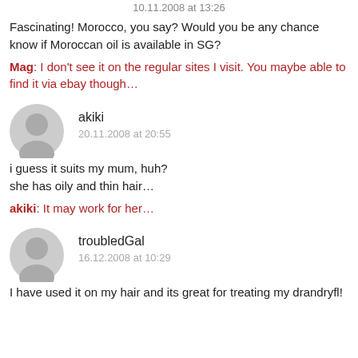10.11.2008 at 13:26
Fascinating! Morocco, you say? Would you be any chance know if Moroccan oil is available in SG?
Mag: I don't see it on the regular sites I visit. You maybe able to find it via ebay though…
akiki
20.11.2008 at 20:55
i guess it suits my mum, huh?
she has oily and thin hair…
akiki: It may work for her…
troubledGal
16.12.2008 at 10:29
I have used it on my hair and its great for treating my drandryfl!